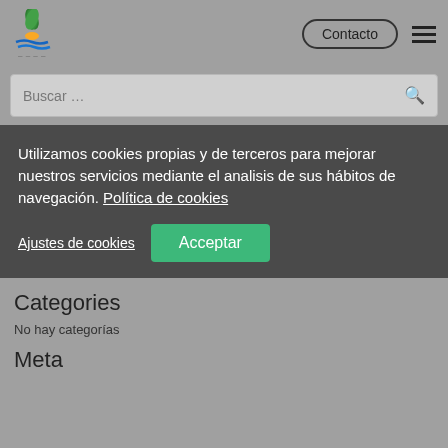Contacto
Buscar ...
Utilizamos cookies propias y de terceros para mejorar nuestros servicios mediante el analisis de sus hábitos de navegación. Política de cookies
Ajustes de cookies | Acceptar
Categories
No hay categorías
Meta